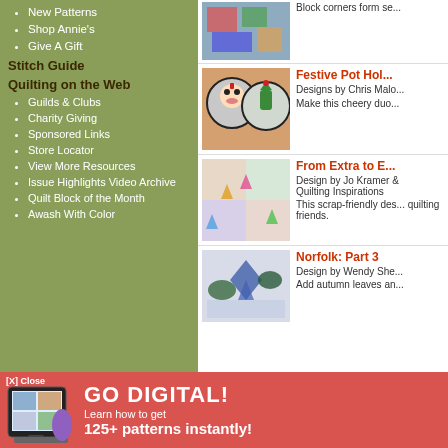New Patterns
Shop Annie's
Give A Gift
Stitch Guide
Quilting on the Web
Guilds & Clubs
Charity Giving
Sponsored Links
Store Locator
View More Resources
Issue Highlights Video Archive
Quilt Block of the Month
Awash With Color
Block corners form se...
[Figure (photo): Colorful quilt with star blocks]
Festive Pot Hol...
Designs by Chris Malo...
Make this cheery duo...
[Figure (photo): Santa face and Christmas tree pot holders]
From Extra to E...
Design by Jo Kramer & Quilting Inspirations
This scrap-friendly des... quilting friends.
[Figure (photo): Colorful scrap quilt with star patterns]
Norfolk: Part 3
Design by Wendy She...
Add autumn leaves an...
[Figure (photo): Blue and white leaf pattern quilt]
[X] Close
GO DIGITAL! Learn how to get 125+ patterns instantly!
[Figure (photo): Tablet showing quilt patterns digital magazine]